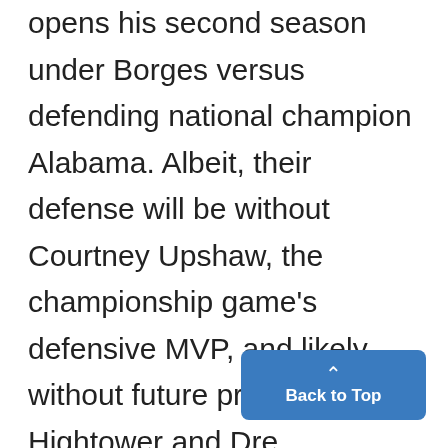opens his second season under Borges versus defending national champion Alabama. Albeit, their defense will be without Courtney Upshaw, the championship game's defensive MVP, and likely without future pros Dont'a Hightower and Dre Kirkpatrick, among others. Though if Robinson doesn't find a consistentbalance and comfort inside and out of the pocket, and in Borges' playbook, it wouldn't matter if the season opener was Alabama or Northwestern. Some after Debtors at all